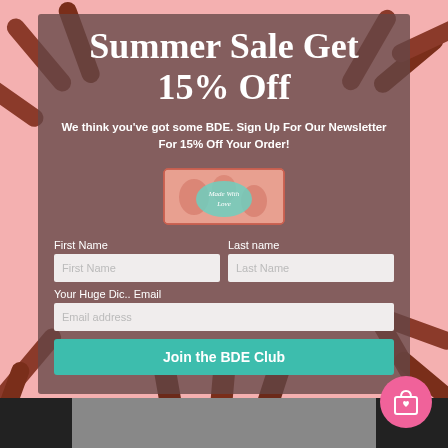[Figure (screenshot): Background image of chocolate finger candies arranged in a heart shape on a pink surface]
Summer Sale Get 15% Off
We think you've got some BDE. Sign Up For Our Newsletter For 15% Off Your Order!
First Name
Last name
Your Huge Dic.. Email
Join the BDE Club